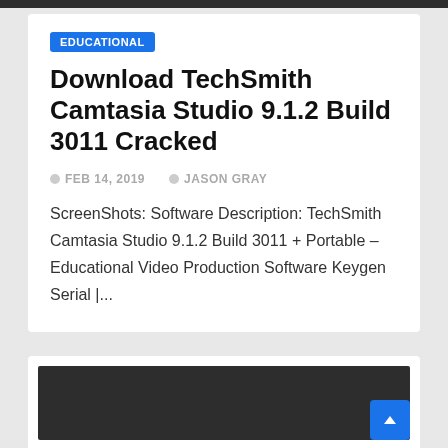EDUCATIONAL
Download TechSmith Camtasia Studio 9.1.2 Build 3011 Cracked
FEB 14, 2019   JASON GRAY
ScreenShots: Software Description: TechSmith Camtasia Studio 9.1.2 Build 3011 + Portable – Educational Video Production Software Keygen Serial |...
[Figure (screenshot): Dark background image area at bottom of page]